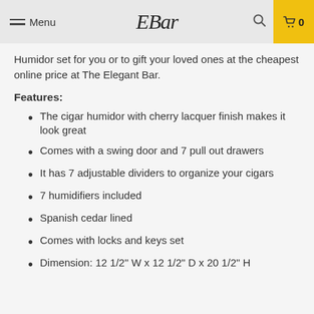Menu | EBar | 🔍 | 🛒 0
Humidor set for you or to gift your loved ones at the cheapest online price at The Elegant Bar.
Features:
The cigar humidor with cherry lacquer finish makes it look great
Comes with a swing door and 7 pull out drawers
It has 7 adjustable dividers to organize your cigars
7 humidifiers included
Spanish cedar lined
Comes with locks and keys set
Dimension: 12 1/2" W x 12 1/2" D x 20 1/2" H